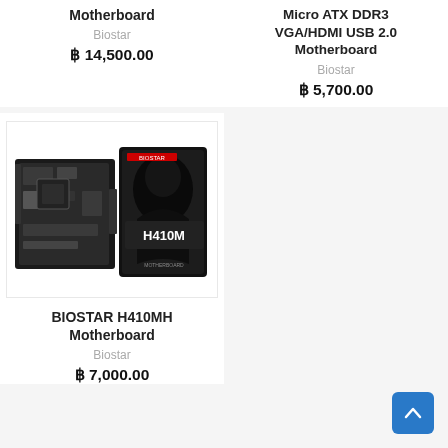Motherboard
Biostar
฿ 14,500.00
Micro ATX DDR3 VGA/HDMI USB 2.0 Motherboard
Biostar
฿ 5,700.00
[Figure (photo): BIOSTAR H410MH Motherboard product photo with motherboard PCB and black product box labeled H410M]
BIOSTAR H410MH Motherboard
Biostar
฿ 7,000.00